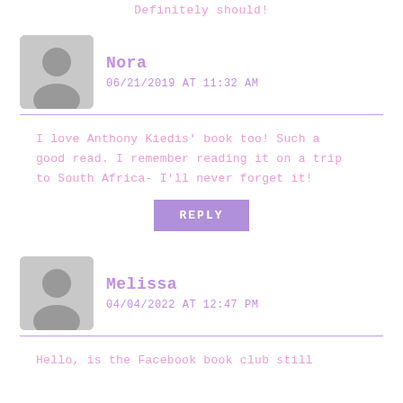Definitely should!
Nora
06/21/2019 AT 11:32 AM
I love Anthony Kiedis' book too! Such a good read. I remember reading it on a trip to South Africa- I'll never forget it!
REPLY
Melissa
04/04/2022 AT 12:47 PM
Hello, is the Facebook book club still